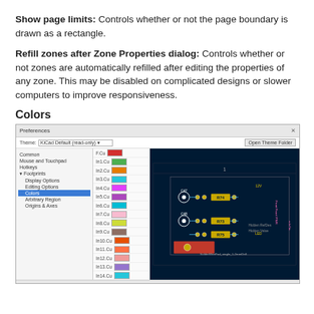Show page limits: Controls whether or not the page boundary is drawn as a rectangle.
Refill zones after Zone Properties dialog: Controls whether or not zones are automatically refilled after editing the properties of any zone. This may be disabled on complicated designs or slower computers to improve responsiveness.
Colors
[Figure (screenshot): Screenshot of KiCad Preferences dialog showing the Colors section. Left panel shows tree: Common, Mouse and Touchpad, Hotkeys, Footprints (with sub-items Display Options, Editing Options, Colors (selected/highlighted blue), Arbitrary Region, Origins & Axes). Top bar shows Theme: KiCad Default (read-only) dropdown and Open Theme Folder button. Middle panel shows a list of copper layers (F.Cu, In1.Cu, In2.Cu, In3.Cu, In4.Cu, In5.Cu, In6.Cu, In7.Cu, In8.Cu, In9.Cu, In10.Cu, In11.Cu, In12.Cu, In13.Cu, In14.Cu, In15.Cu, In16.Cu) each with a color swatch. Right panel shows a PCB preview on dark blue background with components C47, R74, R73, R75, labels 12V, LED, Front Panel PWR, a:IoTin, Hidden RefDes, Hidden Value, SolderWirePad_single_1-2mmDrill. Bottom footer has Reset to Defaults button on left and OK, Cancel buttons on right.]